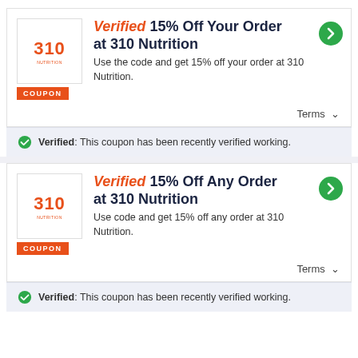Verified 15% Off Your Order at 310 Nutrition
Use the code and get 15% off your order at 310 Nutrition.
Terms
Verified: This coupon has been recently verified working.
Verified 15% Off Any Order at 310 Nutrition
Use code and get 15% off any order at 310 Nutrition.
Terms
Verified: This coupon has been recently verified working.